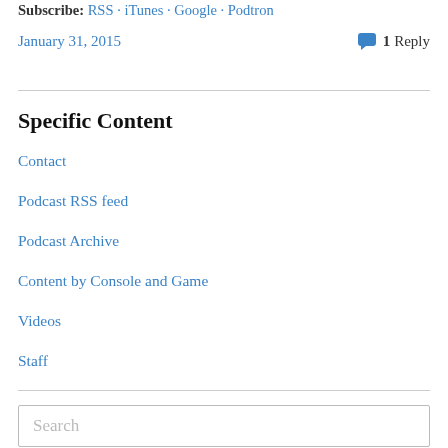Subscribe: RSS · iTunes · Google · Podtron
January 31, 2015    💬 1 Reply
Specific Content
Contact
Podcast RSS feed
Podcast Archive
Content by Console and Game
Videos
Staff
Search